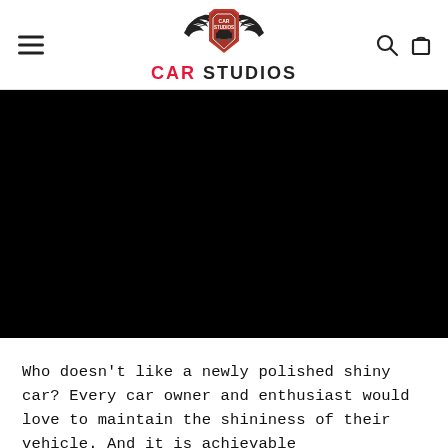CAR STUDIOS
[Figure (photo): Large dark/black hero image banner, likely showing a car or automotive scene, appearing completely dark/black in this rendering]
Who doesn’t like a newly polished shiny car? Every car owner and enthusiast would love to maintain the shininess of their vehicle. And it is achievable